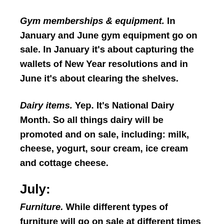Gym memberships & equipment. In January and June gym equipment go on sale. In January it's about capturing the wallets of New Year resolutions and in June it's about clearing the shelves.
Dairy items. Yep. It's National Dairy Month. So all things dairy will be promoted and on sale, including: milk, cheese, yogurt, sour cream, ice cream and cottage cheese.
July:
Furniture. While different types of furniture will go on sale at different times of the year, January is considered a good “general clearance” month